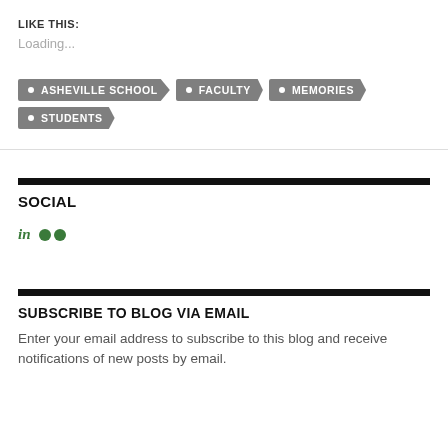LIKE THIS:
Loading...
ASHEVILLE SCHOOL
FACULTY
MEMORIES
STUDENTS
SOCIAL
[Figure (illustration): LinkedIn and Flickr social media icons in green]
SUBSCRIBE TO BLOG VIA EMAIL
Enter your email address to subscribe to this blog and receive notifications of new posts by email.